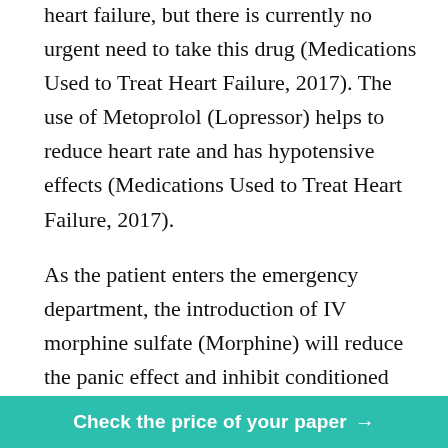heart failure, but there is currently no urgent need to take this drug (Medications Used to Treat Heart Failure, 2017). The use of Metoprolol (Lopressor) helps to reduce heart rate and has hypotensive effects (Medications Used to Treat Heart Failure, 2017).
As the patient enters the emergency department, the introduction of IV morphine sulfate (Morphine) will reduce the panic effect and inhibit conditioned reflexes, reducing the excitability of the cough center, but it should also be avoided because it changes the respiratory frequency. Inhaled short-acting bronchodilator relaxes the respiratory muscles, allowing more oxygen to be captured. Inhaled corticosteroid (Flovent HFA) helps to reduce h...while breathing, and
Check the price of your paper →